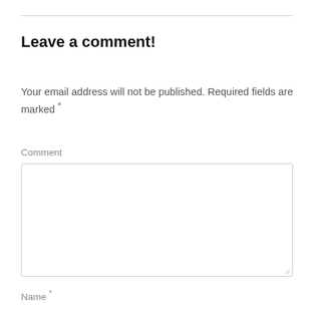Leave a comment!
Your email address will not be published. Required fields are marked *
Comment
Name *